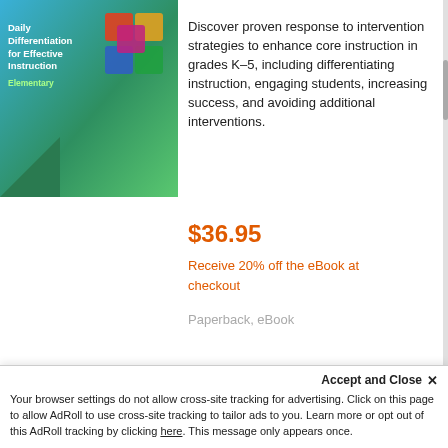[Figure (illustration): Book cover for 'Daily Differentiation for Effective Instruction – Elementary' with puzzle pieces on a blue-green gradient background]
Discover proven response to intervention strategies to enhance core instruction in grades K–5, including differentiating instruction, engaging students, increasing success, and avoiding additional interventions.
$36.95
Receive 20% off the eBook at checkout
Paperback, eBook
Shop By
Accept and Close ✕
Your browser settings do not allow cross-site tracking for advertising. Click on this page to allow AdRoll to use cross-site tracking to tailor ads to you. Learn more or opt out of this AdRoll tracking by clicking here. This message only appears once.